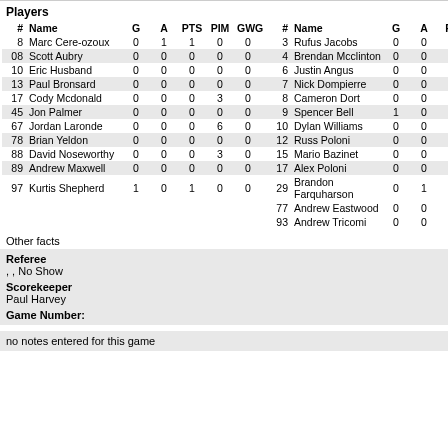Players
| # | Name | G | A | PTS | PIM | GWG | # | Name | G | A | PT |
| --- | --- | --- | --- | --- | --- | --- | --- | --- | --- | --- | --- |
| 8 | Marc Cere-ozoux | 0 | 1 | 1 | 0 | 0 | 3 | Rufus Jacobs | 0 | 0 | 0 |
| 08 | Scott Aubry | 0 | 0 | 0 | 0 | 0 | 4 | Brendan Mcclinton | 0 | 0 | 0 |
| 10 | Eric Husband | 0 | 0 | 0 | 0 | 0 | 6 | Justin Angus | 0 | 0 | 0 |
| 13 | Paul Bronsard | 0 | 0 | 0 | 0 | 0 | 7 | Nick Dompierre | 0 | 0 | 0 |
| 17 | Cody Mcdonald | 0 | 0 | 0 | 3 | 0 | 8 | Cameron Dort | 0 | 0 | 0 |
| 45 | Jon Palmer | 0 | 0 | 0 | 0 | 0 | 9 | Spencer Bell | 1 | 0 | 1 |
| 67 | Jordan Laronde | 0 | 0 | 0 | 6 | 0 | 10 | Dylan Williams | 0 | 0 | 0 |
| 78 | Brian Yeldon | 0 | 0 | 0 | 0 | 0 | 12 | Russ Poloni | 0 | 0 | 0 |
| 88 | David Noseworthy | 0 | 0 | 0 | 3 | 0 | 15 | Mario Bazinet | 0 | 0 | 0 |
| 89 | Andrew Maxwell | 0 | 0 | 0 | 0 | 0 | 17 | Alex Poloni | 0 | 0 | 0 |
| 97 | Kurtis Shepherd | 1 | 0 | 1 | 0 | 0 | 29 | Brandon Farquharson | 0 | 1 | 1 |
|  |  |  |  |  |  |  | 77 | Andrew Eastwood | 0 | 0 | 0 |
|  |  |  |  |  |  |  | 93 | Andrew Tricomi | 0 | 0 | 0 |
Other facts
Referee
, , No Show
Scorekeeper
Paul Harvey
Game Number:
no notes entered for this game